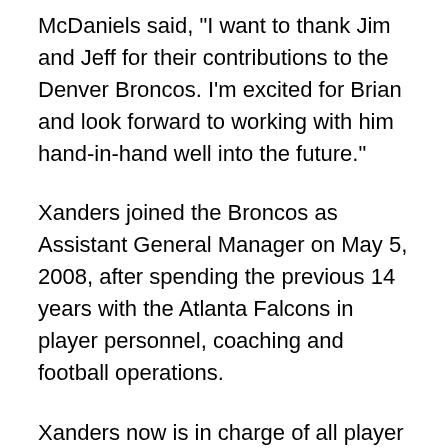McDaniels said, "I want to thank Jim and Jeff for their contributions to the Denver Broncos. I'm excited for Brian and look forward to working with him hand-in-hand well into the future."
Xanders joined the Broncos as Assistant General Manager on May 5, 2008, after spending the previous 14 years with the Atlanta Falcons in player personnel, coaching and football operations.
Xanders now is in charge of all player personnel issues, including college scouting, pro personnel and labor negotiations. He also will have oversight responsibilities with respect to the video, equipment, grounds and athletic training staffs.
He played college football at Florida State University, where he was a linebacker on four bowl winning